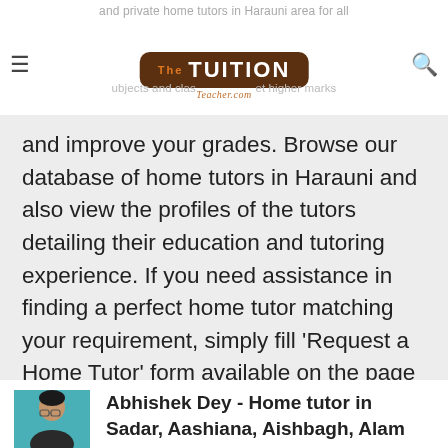and private home tutors in Harauni area for all subjects and classes to get higher marks and improve your grades.
and improve your grades. Browse our database of home tutors in Harauni and also view the profiles of the tutors detailing their education and tutoring experience. If you need assistance in finding a perfect home tutor matching your requirement, simply fill 'Request a Home Tutor' form available on the page and get a free one-to-one trial class with the qualified tutors.
[Figure (photo): Photo of Abhishek Dey, a home tutor]
Abhishek Dey - Home tutor in Sadar, Aashiana, Aishbagh, Alam